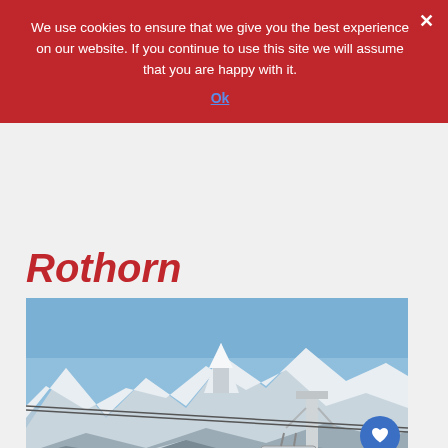We use cookies to ensure that we give you the best experience on our website. If you continue to use this site we will assume that you are happy with it.
Ok
Rothorn
[Figure (photo): Aerial cable car gondola with snow-covered mountains in the background including the distinctive peak of the Matterhorn, taken from Rothorn, Zermatt. A tall cable car pylon is visible on the right. Blue sky above.]
Rothorn provides one of the best vantage points of the Matterhorn. © Zermatt Bergbahnen